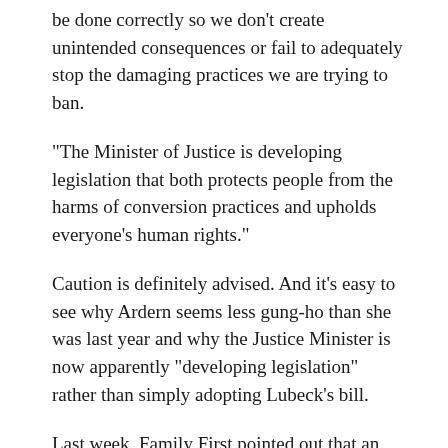be done correctly so we don't create unintended consequences or fail to adequately stop the damaging practices we are trying to ban.
“The Minister of Justice is developing legislation that both protects people from the harms of conversion practices and upholds everyone’s human rights.”
Caution is definitely advised. And it’s easy to see why Ardern seems less gung-ho than she was last year and why the Justice Minister is now apparently “developing legislation” rather than simply adopting Lubeck’s bill.
Last week, Family First pointed out that an Official Information Act request had turned up advice given in 2018 to then Associate Minister of Health Julie Anne Genter that reminded her that protections against conversion therapy exist in the health sector...